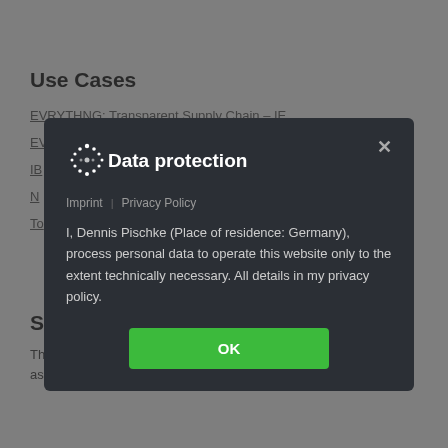Use Cases
EVRYTHNG: Transparent Supply Chain – IE
EV...
IB...
N...
To...
[Figure (screenshot): A data protection modal dialog with IOTA logo, title 'Data protection', links for Imprint and Privacy Policy, a privacy notice text, an OK button, and a close (x) button. Background shows blurred page content with Use Cases section and links.]
Supply Chain
The supply chain can probably be considered in general as one of the fields benefiting most from distributed